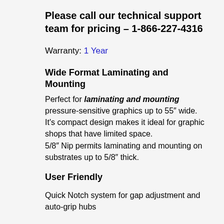Please call our technical support team for pricing – 1-866-227-4316
Warranty: 1 Year
Wide Format Laminating and Mounting
Perfect for laminating and mounting pressure-sensitive graphics up to 55″ wide.
It's compact design makes it ideal for graphic shops that have limited space.
5/8″ Nip permits laminating and mounting on substrates up to 5/8″ thick.
User Friendly
Quick Notch system for gap adjustment and auto-grip hubs